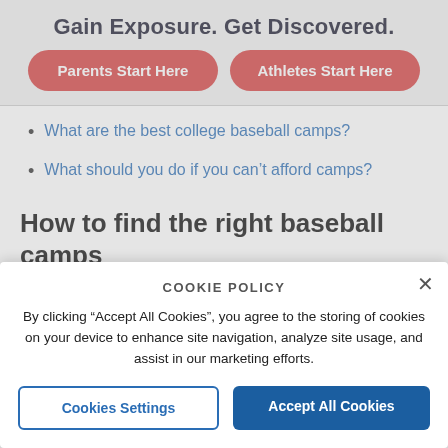Gain Exposure. Get Discovered.
Parents Start Here
Athletes Start Here
What are the best college baseball camps?
What should you do if you can't afford camps?
How to find the right baseball camps
COOKIE POLICY
By clicking “Accept All Cookies”, you agree to the storing of cookies on your device to enhance site navigation, analyze site usage, and assist in our marketing efforts.
Cookies Settings
Accept All Cookies